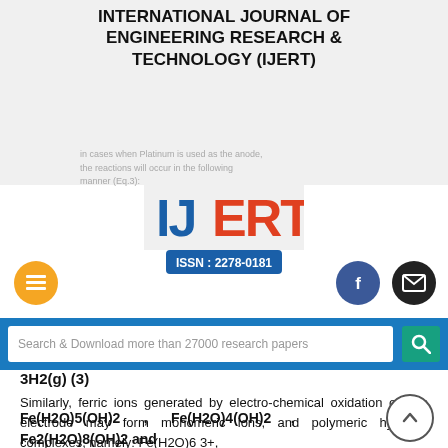INTERNATIONAL JOURNAL OF ENGINEERING RESEARCH & TECHNOLOGY (IJERT)
[Figure (logo): IJERT logo with ISSN: 2278-0181]
Search & Download more than 27000 research papers
Similarly, ferric ions generated by electrochemical oxidation of iron electrode may form monomeric ions, and polymeric hydroxyl complexes, namely: Fe(H2O)6 3+,